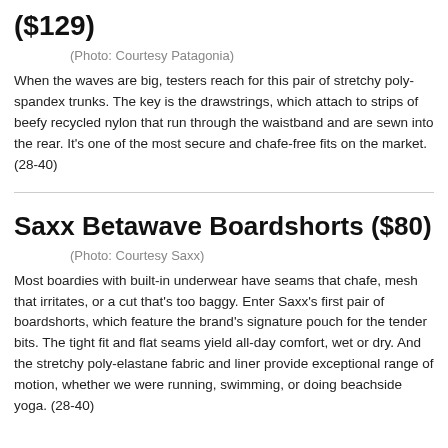($129)
(Photo: Courtesy Patagonia)
When the waves are big, testers reach for this pair of stretchy poly-spandex trunks. The key is the drawstrings, which attach to strips of beefy recycled nylon that run through the waistband and are sewn into the rear. It’s one of the most secure and chafe-free fits on the market. (28-40)
Saxx Betawave Boardshorts ($80)
(Photo: Courtesy Saxx)
Most boardies with built-in underwear have seams that chafe, mesh that irritates, or a cut that’s too baggy. Enter Saxx’s first pair of boardshorts, which feature the brand’s signature pouch for the tender bits. The tight fit and flat seams yield all-day comfort, wet or dry. And the stretchy poly-elastane fabric and liner provide exceptional range of motion, whether we were running, swimming, or doing beachside yoga. (28-40)